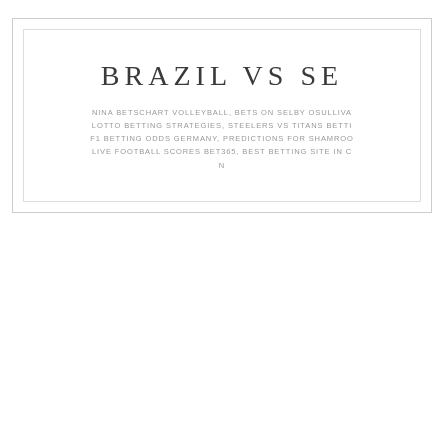BRAZIL VS SE
NINA BETSCHART VOLLEYBALL, BETS ON SELBY OSULLIVA LOTTO BETTING STRATEGIES, STEELERS VS TITANS BETTI F1 BETTING ODDS GERMANY, PREDICTIONS FOR SHAMROO LIVE FOOTBALL SCORES BET365, BEST BETTING SITE IN C N